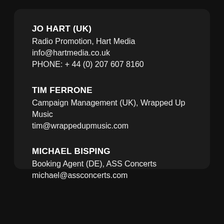JO HART (UK)
Radio Promotion, Hart Media
info@hartmedia.co.uk
PHONE: + 44 (0) 207 607 8160
TIM FERRONE
Campaign Management (UK), Wrapped Up Music
tim@wrappedupmusic.com
MICHAEL BISPING
Booking Agent (DE), ASS Concerts
michael@assconcerts.com